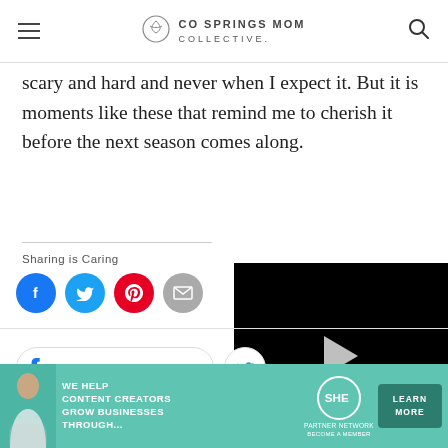CO SPRINGS MOM COLLECTIVE.
scary and hard and never when I expect it. But it is moments like these that remind me to cherish it before the next season comes along.
Sharing is Caring
[Figure (screenshot): Social sharing buttons: Facebook (blue circle), Twitter (blue circle), Pinterest (red circle), Email (grey circle)]
[Figure (screenshot): Video player with black background and white play triangle button in center]
[Figure (screenshot): Facebook share button and partial Twitter share button]
[Figure (infographic): Advertisement banner: SHE Media partner network - We help content creators grow businesses through... LEARN MORE button]